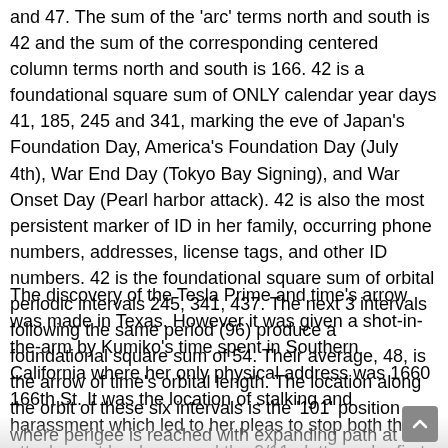and 47. The sum of the 'arc' terms north and south is 42 and the sum of the corresponding centered column terms north and south is 166. 42 is a foundational square sum of ONLY calendar year days 41, 185, 245 and 341, marking the eve of Japan's Foundation Day, America's Foundation Day (July 4th), War End Day (Tokyo Bay Signing), and War Onset Day (Pearl harbor attack). 42 is also the most persistent marker of ID in her family, occurring phone numbers, addresses, license tags, and other ID numbers. 42 is the foundational square sum of orbital periodic intervals 245, 341, 437. The next 3 intervals following the same period (96) produce a foundational square sum of 54. Their average, 48, is the arrow of time's orbital length. The location along the orbit of these six intervals is the '101' position where perigee is reached with expanding path at 1,109.
The discovery of the Tesla Prime and time's arrow was made in Texas. However it was given a shot-in-the-arm by Kumiko's time spent in Southern California where her only physical address was 1660 166th St. It was the location of stalking and harassment which led to her pleas to stop both the attackers at her home and the 9/11 plotters who first bombed a flight over Japan which she took protective notice of during her ownership of Alamo Language School in Japan. The